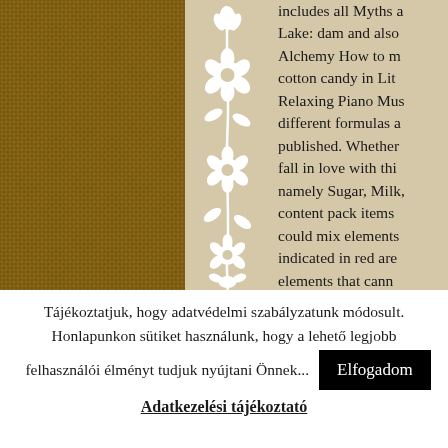[Figure (illustration): Left portion: burlap/woven fabric texture photo. Center: beige background with white floral/folk art decorative vine illustration. Right: beige background with partially visible English text.]
includes all Myths a Lake: dam and also Alchemy How to m cotton candy in Lit Relaxing Piano Mus different formulas a published. Whether fall in love with thi namely Sugar, Milk, content pack items could mix elements indicated in red are elements that cann
Tájékoztatjuk, hogy adatvédelmi szabályzatunk módosult. Honlapunkon sütiket használunk, hogy a lehető legjobb felhasználói élményt tudjuk nyújtani Önnek... Elfogadom
Adatkezelési tájékoztató